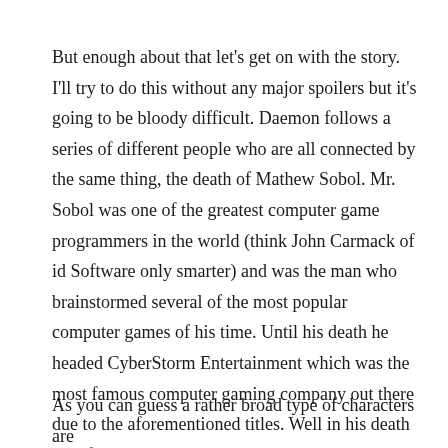But enough about that let's get on with the story. I'll try to do this without any major spoilers but it's going to be bloody difficult. Daemon follows a series of different people who are all connected by the same thing, the death of Mathew Sobol. Mr. Sobol was one of the greatest computer game programmers in the world (think John Carmack of id Software only smarter) and was the man who brainstormed several of the most popular computer games of his time. Until his death he headed CyberStorm Entertainment which was the most famous computer gaming company out there due to the aforementioned titles. Well in his death he left behind a little present, a daemon.
As you can guess a rather broad type of characters are